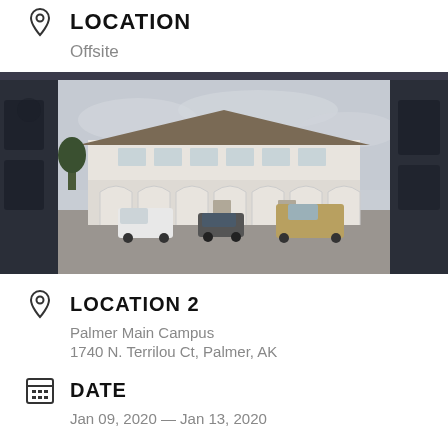LOCATION
Offsite
[Figure (photo): Exterior photo of a two-story white building with arched covered porch and vehicles parked in front on a gravel lot, overcast sky]
LOCATION 2
Palmer Main Campus
1740 N. Terrilou Ct, Palmer, AK
DATE
Jan 09, 2020 — Jan 13, 2020